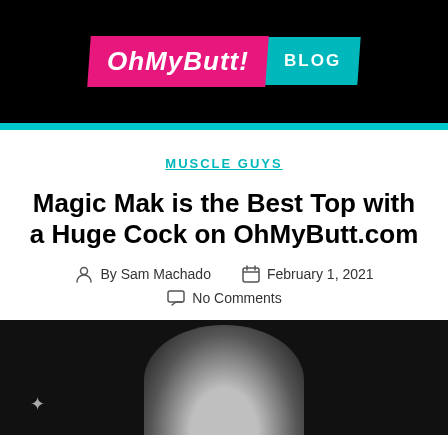[Figure (logo): OhMyButt! Blog logo — pink skewed banner with italic bold white text 'OhMyButt!' and teal skewed banner with bold white text 'BLOG']
MUSCLE GUYS
Magic Mak is the Best Top with a Huge Cock on OhMyButt.com
By Sam Machado   February 1, 2021
No Comments
[Figure (photo): Dark background photo showing a person, partially visible at the bottom of the page]